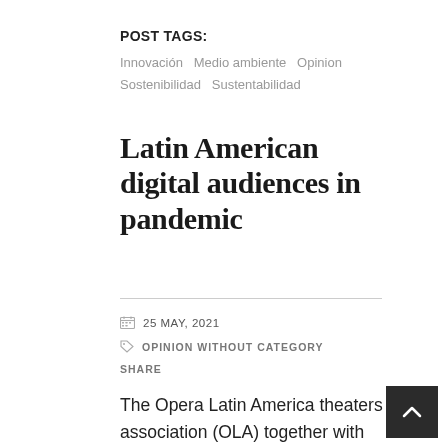POST TAGS:
Innovación   Medio ambiente   Opinion   Sostenibilidad   Sustentabilidad
Latin American digital audiences in pandemic
25 MAY, 2021
OPINION WITHOUT CATEGORY
SHARE
The Opera Latin America theaters association (OLA) together with eight Chilean theaters promoted a study of